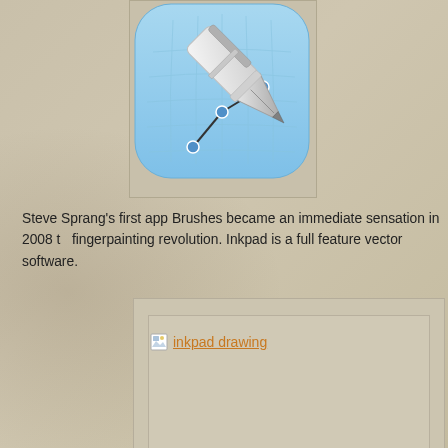[Figure (illustration): Inkpad app icon: a fountain pen nib on a light blue grid background, with vector anchor points and connecting lines, rounded square shape]
Steve Sprang's first app Brushes became an immediate sensation in 2008 to fingerpainting revolution. Inkpad is a full feature vector software.
[Figure (illustration): Inkpad drawing placeholder image with a broken image icon and link text 'inkpad drawing' in orange/amber color]